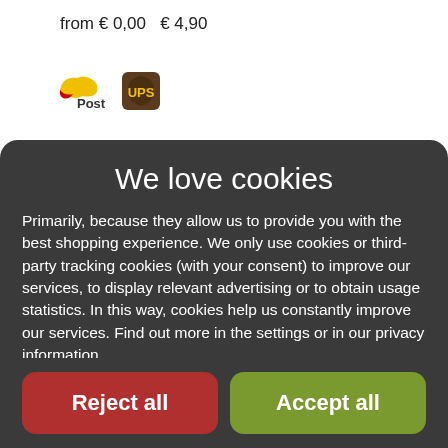from € 0,00   € 4,90
[Figure (logo): Austrian Post logo (yellow/red bird icon) and UPS logo (brown shield)]
We love cookies
Primarily, because they allow us to provide you with the best shopping experience. We only use cookies or third-party tracking cookies (with your consent) to improve our services, to display relevant advertising or to obtain usage statistics. In this way, cookies help us constantly improve our services. Find out more in the settings or in our privacy information. Data protection information
Settings
Reject all
Accept all